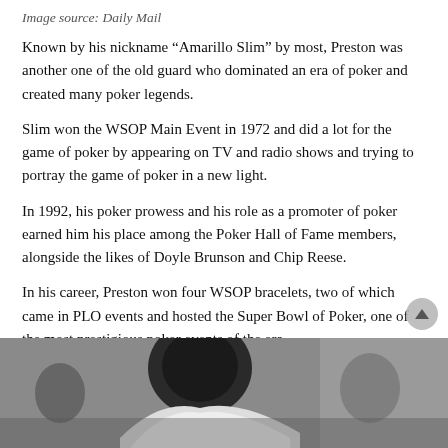Image source: Daily Mail
Known by his nickname “Amarillo Slim” by most, Preston was another one of the old guard who dominated an era of poker and created many poker legends.
Slim won the WSOP Main Event in 1972 and did a lot for the game of poker by appearing on TV and radio shows and trying to portray the game of poker in a new light.
In 1992, his poker prowess and his role as a promoter of poker earned him his place among the Poker Hall of Fame members, alongside the likes of Doyle Brunson and Chip Reese.
In his career, Preston won four WSOP bracelets, two of which came in PLO events and hosted the Super Bowl of Poker, one of the most prestigious poker events of the era.
4. Stu “The Kid” Ungar
[Figure (photo): Black and white photograph of Stu Ungar, shown from shoulders up, leaning forward, in what appears to be a poker setting.]